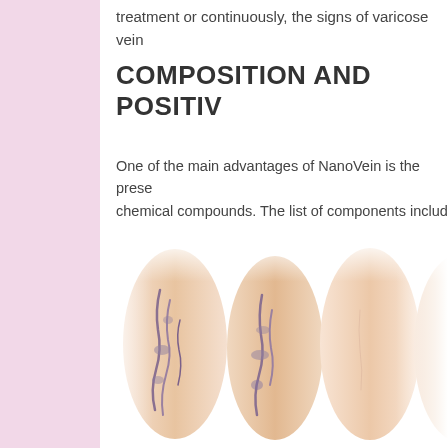treatment or continuously, the signs of varicose vein
COMPOSITION AND POSITIV
One of the main advantages of NanoVein is the prese chemical compounds. The list of components includ
[Figure (photo): Medical photograph showing legs with varicose veins before and after treatment. Left two legs show dark, visible varicose veins. Right two legs appear healthier with less visible veins.]